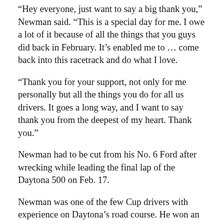“Hey everyone, just want to say a big thank you,” Newman said. “This is a special day for me. I owe a lot of it because of all the things that you guys did back in February. It’s enabled me to … come back into this racetrack and do what I love.
“Thank you for your support, not only for me personally but all the things you do for all us drivers. It goes a long way, and I want to say thank you from the deepest of my heart. Thank you.”
Newman had to be cut from his No. 6 Ford after wrecking while leading the final lap of the Daytona 500 on Feb. 17.
Newman was one of the few Cup drivers with experience on Daytona’s road course. He won an IROC race on the layout in 2004. Matt Kenseth, Kurt Busch, Jimmie Johnson, Kyle Busch, Clint Bowyer and Michael McDowell also had limited experience here.